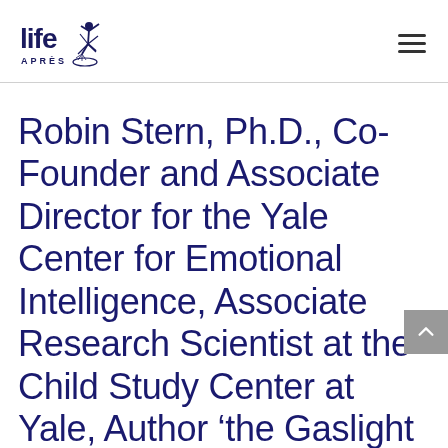life APRÈS [logo with navigation hamburger menu]
Robin Stern, Ph.D., Co-Founder and Associate Director for the Yale Center for Emotional Intelligence, Associate Research Scientist at the Child Study Center at Yale, Author ‘the Gaslight Effect’